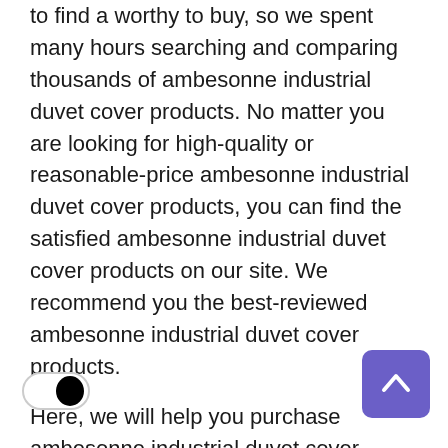to find a worthy to buy, so we spent many hours searching and comparing thousands of ambesonne industrial duvet cover products. No matter you are looking for high-quality or reasonable-price ambesonne industrial duvet cover products, you can find the satisfied ambesonne industrial duvet cover products on our site. We recommend you the best-reviewed ambesonne industrial duvet cover products.
Here, we will help you purchase ambesonne industrial duvet cover products. Top comments provide you with fair comments about different ambesonne industrial duvet cover products and useful buyer guidelines.All of ambesonne industrial duvet cover products are of high quality and at a reasonable price. You are no worried to